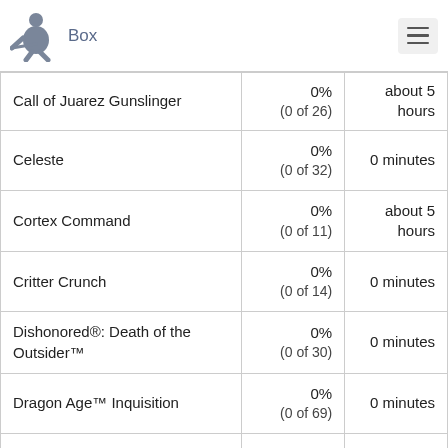Box
| Game | Completion % | Time |
| --- | --- | --- |
| Call of Juarez Gunslinger | 0%
(0 of 26) | about 5 hours |
| Celeste | 0%
(0 of 32) | 0 minutes |
| Cortex Command | 0%
(0 of 11) | about 5 hours |
| Critter Crunch | 0%
(0 of 14) | 0 minutes |
| Dishonored®: Death of the Outsider™ | 0%
(0 of 30) | 0 minutes |
| Dragon Age™ Inquisition | 0%
(0 of 69) | 0 minutes |
| Dungeon Defenders | 1%
(1 of 118) | about 1 hour |
| Dustforce | 0% | about 5... |